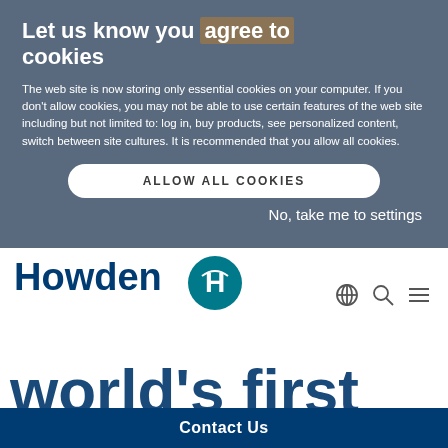Howden on LinkedIn ... agree to Howden ×
Let us know you agree to cookies
The web site is now storing only essential cookies on your computer. If you don't allow cookies, you may not be able to use certain features of the web site including but not limited to: log in, buy products, see personalized content, switch between site cultures. It is recommended that you allow all cookies.
ALLOW ALL COOKIES
No, take me to settings
[Figure (logo): Howden company logo with teal circular symbol and bold navy blue 'Howden' wordmark]
[Figure (other): Navigation icons: globe, search, and hamburger menu]
world's first pilot plant for
Contact Us